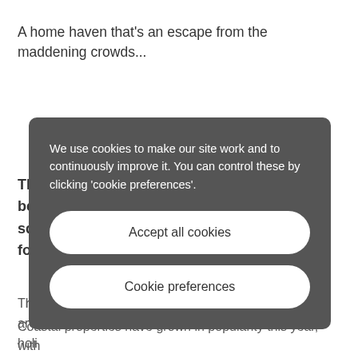A home haven that's an escape from the maddening crowds...
The [partially hidden text about bea... squ... t for...]
The [partially hidden text] nd are holi wat...
[Figure (screenshot): Cookie consent dialog overlay with dark grey background. Contains message: 'We use cookies to make our site work and to continuously improve it. You can control these by clicking \'cookie preferences\'.' Two buttons: 'Accept all cookies' and 'Cookie preferences', both white with rounded pill shape.]
Coastal properties have grown in popularity this year, with